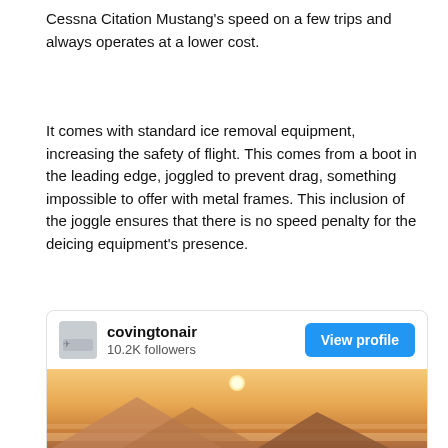Cessna Citation Mustang's speed on a few trips and always operates at a lower cost.
It comes with standard ice removal equipment, increasing the safety of flight. This comes from a boot in the leading edge, joggled to prevent drag, something impossible to offer with metal frames. This inclusion of the joggle ensures that there is no speed penalty for the deicing equipment's presence.
[Figure (screenshot): Social media profile card for 'covingtonair' with 10.2K followers and a 'View profile' button, with an aviation photo showing an airplane flying over mountains at sunset.]